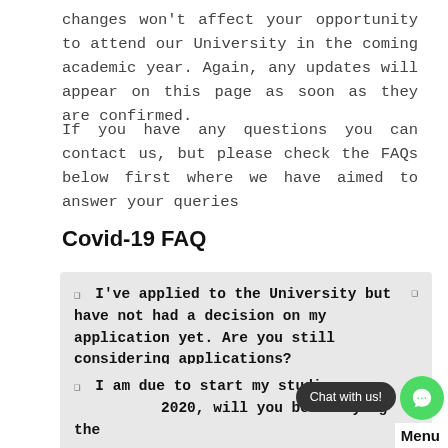changes won't affect your opportunity to attend our University in the coming academic year. Again, any updates will appear on this page as soon as they are confirmed.
If you have any questions you can contact us, but please check the FAQs below first where we have aimed to answer your queries
Covid-19 FAQ
❑  I've applied to the University but have not had a decision on my application yet. Are you still considering applications?
❑  I am due to start my studies September 2020, will you be delaying the